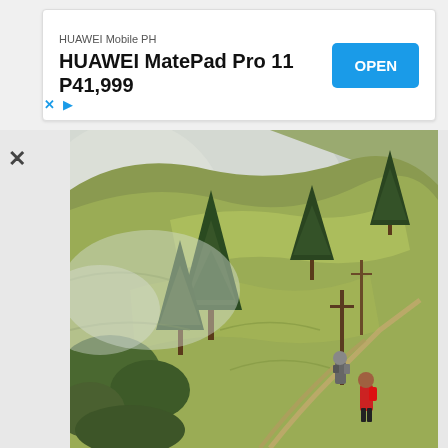[Figure (screenshot): Mobile advertisement banner for HUAWEI Mobile PH showing HUAWEI MatePad Pro 11 P41,999 with an OPEN button in blue, and X and play icons at bottom left.]
[Figure (photo): Outdoor mountain hiking photo showing a steep grassy hillside with pine trees, misty clouds in background, and two hikers on a narrow trail. One hiker wears a red backpack.]